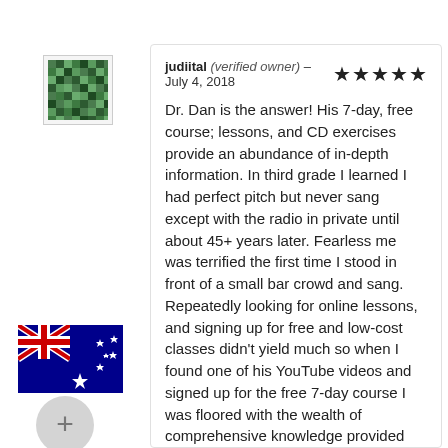[Figure (illustration): Green pixel-pattern avatar image (profile picture)]
[Figure (illustration): Australian flag image]
[Figure (illustration): Grey plus button circle]
judiital (verified owner) – July 4, 2018 ★★★★★
Dr. Dan is the answer! His 7-day, free course; lessons, and CD exercises provide an abundance of in-depth information. In third grade I learned I had perfect pitch but never sang except with the radio in private until about 45+ years later. Fearless me was terrified the first time I stood in front of a small bar crowd and sang. Repeatedly looking for online lessons, and signing up for free and low-cost classes didn't yield much so when I found one of his YouTube videos and signed up for the free 7-day course I was floored with the wealth of comprehensive knowledge provided and the multi-layered presentation in which it came. This isn't teaser stuff for a bigger purchase, it's full on, incredible depth. Because of that I bought the CD on the second lesson day, and while I'm just getting into it, I've already been challenged and am feeling results from what